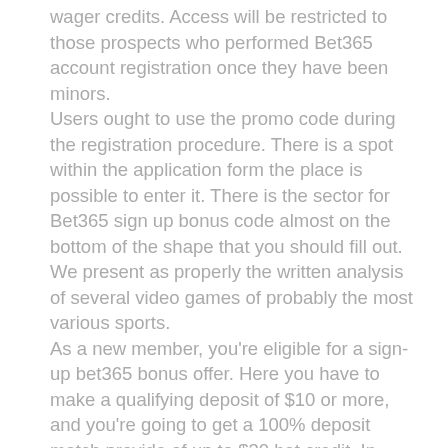wager credits. Access will be restricted to those prospects who performed Bet365 account registration once they have been minors. Users ought to use the promo code during the registration procedure. There is a spot within the application form the place is possible to enter it. There is the sector for Bet365 sign up bonus code almost on the bottom of the shape that you should fill out. We present as properly the written analysis of several video games of probably the most various sports. As a new member, you're eligible for a sign-up bet365 bonus offer. Here you have to make a qualifying deposit of $10 or more, and you're going to get a 100% deposit match provide of up to $30 bet credit. In addition, this Bet365 log in bookmaker meets all the requirements of bettors who like tennis prediction. Such customers are capable of carry out Bet365 login, but many functions shall be limited for them. Therefore, at the first request of an worker of the corporate, it will be essential to send a passport picture and other private knowledge to the e-mail